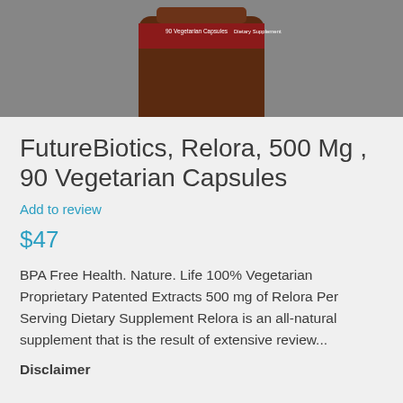[Figure (photo): Partial view of a brown supplement bottle with red label band showing '90 Vegetarian Capsules' and 'Dietary Supplement' text, photographed against a gray background.]
FutureBiotics, Relora, 500 Mg , 90 Vegetarian Capsules
Add to review
$47
BPA Free Health. Nature. Life 100% Vegetarian Proprietary Patented Extracts 500 mg of Relora Per Serving Dietary Supplement Relora is an all-natural supplement that is the result of extensive review...
Disclaimer